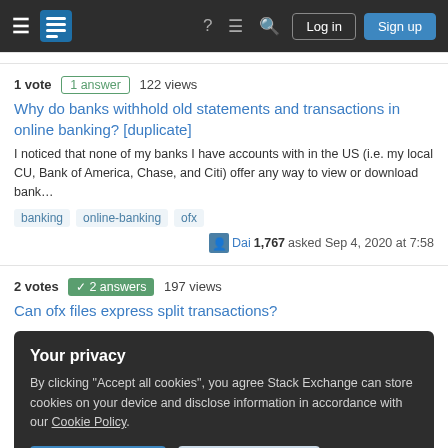Stack Exchange Q&A site navigation header with Log in and Sign up buttons
1 vote  1 answer  122 views
Why do banks withhold old statements and transactions in online banking? [duplicate]
I noticed that none of my banks I have accounts with in the US (i.e. my local CU, Bank of America, Chase, and Citi) offer any way to view or download bank…
banking  online-banking  ofx  Dai 1,767 asked Sep 4, 2020 at 7:58
2 votes  2 answers  197 views
Can ofx files express split transactions?
Your privacy
By clicking "Accept all cookies", you agree Stack Exchange can store cookies on your device and disclose information in accordance with our Cookie Policy.
Accept all cookies  Customize settings
I would like to trade options on the FX market, say EURUSD and GBPUSD. I have